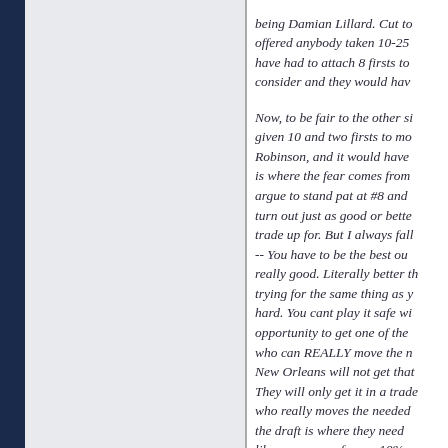being Damian Lillard. Cut to offered anybody taken 10-25 have had to attach 8 firsts to consider and they would hav
Now, to be fair to the other si given 10 and two firsts to mo Robinson, and it would have is where the fear comes from argue to stand pat at #8 and turn out just as good or bette trade up for. But I always fall -- You have to be the best ou really good. Literally better th trying for the same thing as y hard. You cant play it safe wi opportunity to get one of the who can REALLY move the n New Orleans will not get that They will only get it in a trade who really moves the needed the draft is where they need like you can go from a 10% c guy at 8 to a 25% chance to must be aggressive.
But again, I know human beh disagree. But come back to t 2025 and ask if we should ha 2022, using that Lakers pick...